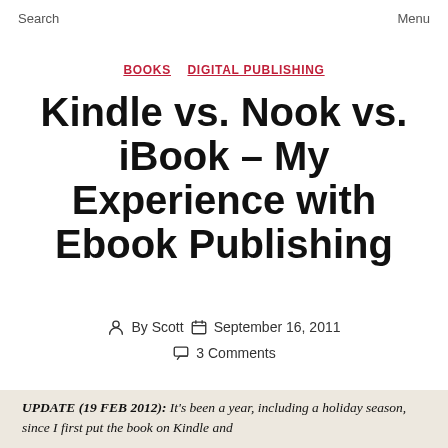Search   Menu
BOOKS   DIGITAL PUBLISHING
Kindle vs. Nook vs. iBook – My Experience with Ebook Publishing
By Scott   September 16, 2011   3 Comments
UPDATE (19 FEB 2012): It's been a year, including a holiday season, since I first put the book on Kindle and